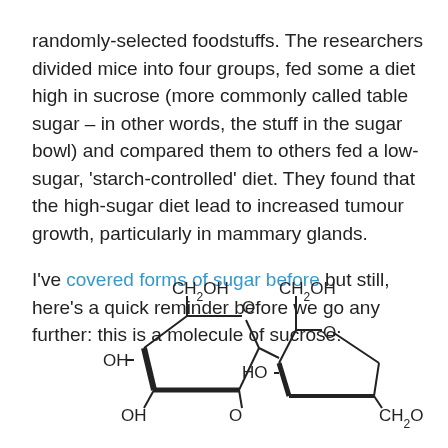randomly-selected foodstuffs. The researchers divided mice into four groups, fed some a diet high in sucrose (more commonly called table sugar – in other words, the stuff in the sugar bowl) and compared them to others fed a low-sugar, 'starch-controlled' diet. They found that the high-sugar diet lead to increased tumour growth, particularly in mammary glands.
I've covered forms of sugar before but still, here's a quick reminder before we go any further: this is a molecule of sucrose:
[Figure (schematic): Structural chemical diagram of sucrose molecule showing two ring structures (glucose and fructose) connected by an oxygen bridge, with labeled functional groups CH2OH, OH, HO, and O.]